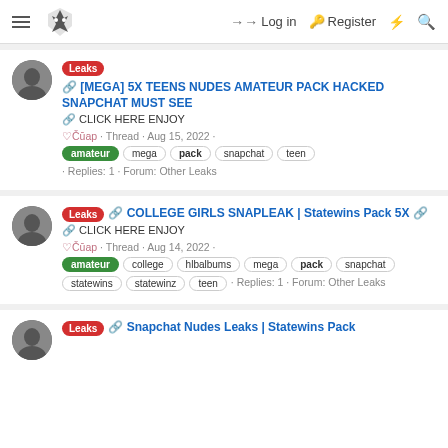Log in  Register
[MEGA] 5X TEENS NUDES AMATEUR PACK HACKED SNAPCHAT MUST SEE • CLICK HERE ENJOY • ♡Čūap · Thread · Aug 15, 2022 · amateur mega pack snapchat teen · Replies: 1 · Forum: Other Leaks
COLLEGE GIRLS SNAPLEAK | Statewins Pack 5X • CLICK HERE ENJOY • ♡Čūap · Thread · Aug 14, 2022 · amateur college hlbalbums mega pack snapchat statewins statewinz teen · Replies: 1 · Forum: Other Leaks
Snapchat Nudes Leaks | Statewins Pack